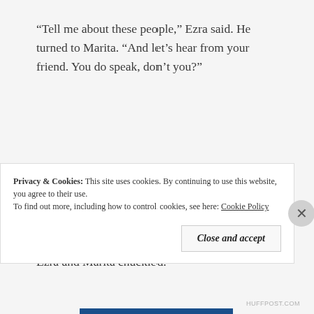“Tell me about these people,” Ezra said. He turned to Marita. “And let’s hear from your friend. You do speak, don’t you?”
Marita smiled. “On occasion. But Connie yaks so much, I usually just let her do all the talking for the both of us.”
“Hey!” Connie protested from the back seat, and Ezra and Marita chuckled.
Privacy & Cookies:  This site uses cookies. By continuing to use this website, you agree to their use.
To find out more, including how to control cookies, see here: Cookie Policy
Close and accept